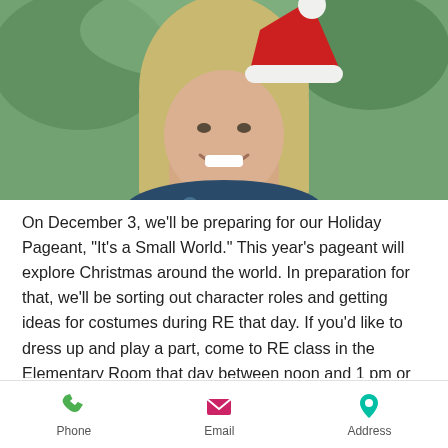[Figure (photo): Photo of a woman with long blonde hair wearing a Santa hat and a floral/tropical patterned top with a necklace, smiling, with green outdoor background.]
On December 3, we'll be preparing for our Holiday Pageant, “It’s a Small World.” This year’s pageant will explore Christmas around the world. In preparation for that, we’ll be sorting out character roles and getting ideas for costumes during RE that day. If you’d like to dress up and play a part, come to RE class in the Elementary Room that day between noon and 1 pm or contact
Phone   Email   Address